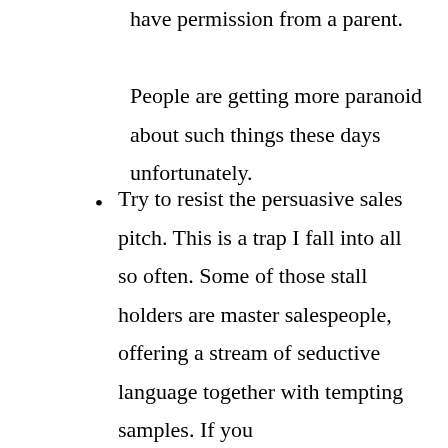have permission from a parent. People are getting more paranoid about such things these days unfortunately.
Try to resist the persuasive sales pitch. This is a trap I fall into all so often. Some of those stall holders are master salespeople, offering a stream of seductive language together with tempting samples. If you